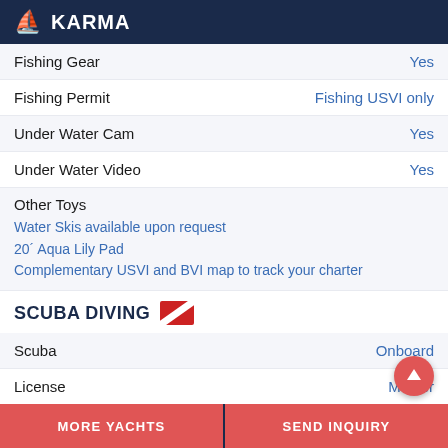KARMA
Fishing Gear: Yes
Fishing Permit: Fishing USVI only
Under Water Cam: Yes
Under Water Video: Yes
Other Toys: Water Skis available upon request; 20' Aqua Lily Pad; Complementary USVI and BVI map to track your charter
SCUBA DIVING
Scuba: Onboard
License: Master
Air Compressor: Not Onboard
Tanks: 8
BCs: 8
MORE YACHTS | SEND INQUIRY